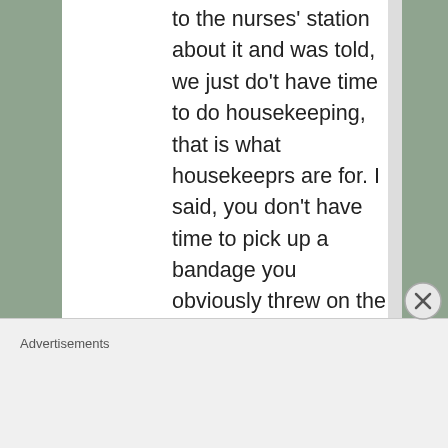to the nurses' station about it and was told, we just do't have time to do housekeeping, that is what housekeeprs are for. I said, you don't have time to pick up a bandage you obviously threw on the floor? If it isn't up and the floor sanitized in that room by the
Advertisements